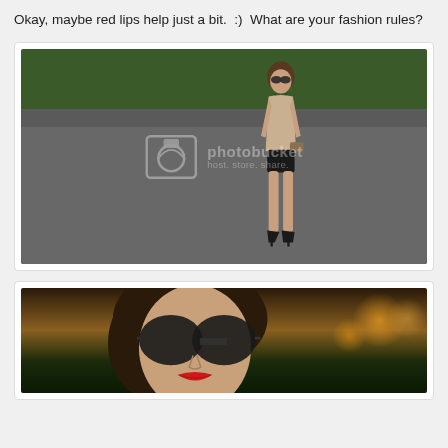Okay, maybe red lips help just a bit.  :)  What are your fashion rules?
[Figure (photo): Woman in beige top and black shorts standing on a parking lot with green trees in background. Photobucket watermark overlay visible.]
[Figure (photo): Close-up of woman with large sunglasses and red lips against a bokeh sunset background with golden and green light spots.]